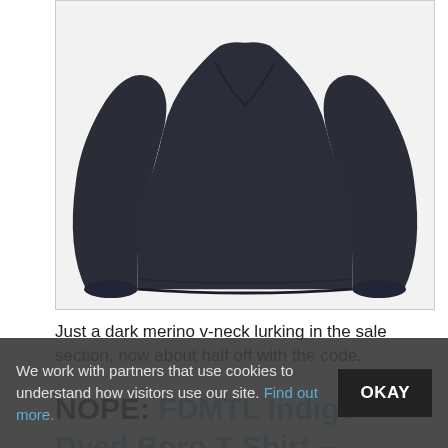[Figure (photo): Dark navy/charcoal merino v-neck sweater photographed flat on white background, showing both sleeves extended and the body of the garment.]
Just a dark merino v-neck lurking in the sale section, now about half off with the code.
NOPE: FDMTL Indigo-Dyed Boro T-Shirt – $160.00
We work with partners that use cookies to understand how visitors use our site. Find out more.